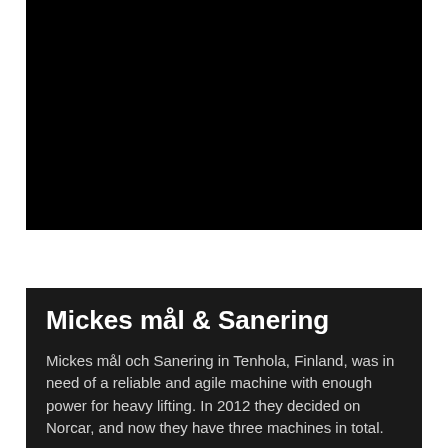[Figure (photo): A large black rectangular image area, likely a photograph that is too dark to discern detail.]
Mickes mål & Sanering
Mickes mål och Sanering in Tenhola, Finland, was in need of a reliable and agile machine with enough power for heavy lifting. In 2012 they decided on Norcar, and now they have three machines in total.